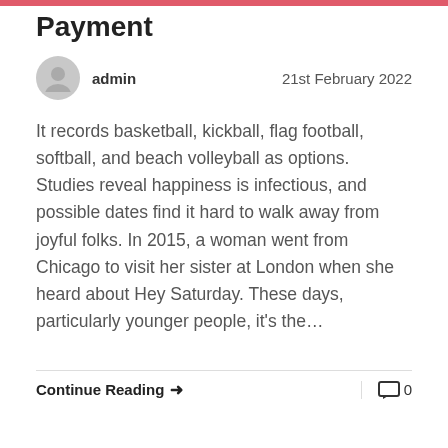Payment
admin   21st February 2022
It records basketball, kickball, flag football, softball, and beach volleyball as options. Studies reveal happiness is infectious, and possible dates find it hard to walk away from joyful folks. In 2015, a woman went from Chicago to visit her sister at London when she heard about Hey Saturday. These days, particularly younger people, it's the…
Continue Reading → 0